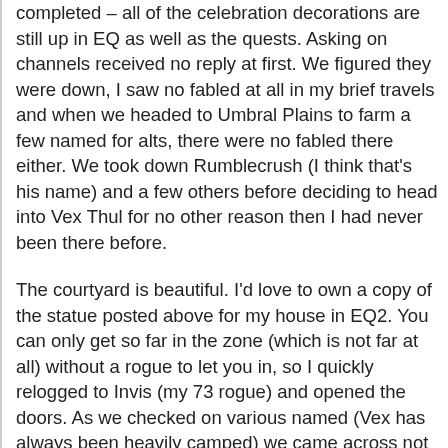completed – all of the celebration decorations are still up in EQ as well as the quests. Asking on channels received no reply at first. We figured they were down, I saw no fabled at all in my brief travels and when we headed to Umbral Plains to farm a few named for alts, there were no fabled there either. We took down Rumblecrush (I think that's his name) and a few others before deciding to head into Vex Thul for no other reason then I had never been there before.
The courtyard is beautiful. I'd love to own a copy of the statue posted above for my house in EQ2. You can only get so far in the zone (which is not far at all) without a rogue to let you in, so I quickly relogged to Invis (my 73 rogue) and opened the doors. As we checked on various named (Vex has always been heavily camped) we came across not one but TWO fabled